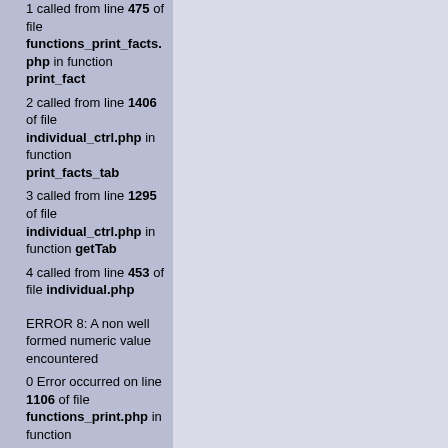1 called from line 475 of file functions_print_facts.php in function print_fact 2 called from line 1406 of file individual_ctrl.php in function print_facts_tab 3 called from line 1295 of file individual_ctrl.php in function getTab 4 called from line 453 of file individual.php
ERROR 8: A non well formed numeric value encountered 0 Error occurred on line 1106 of file functions_print.php in function print_note_record 1 called from line 1214 of file functions_print.php in function print_fact_notes 2 called from line 611 of file functions_print_facts.php in function print_fact_sources 3 called from line 475 of file functions_print_facts.php in function print_fact 4 called from line 1406 of file individual_ctrl.php in function print_facts_tab 5 called from line 1295 of